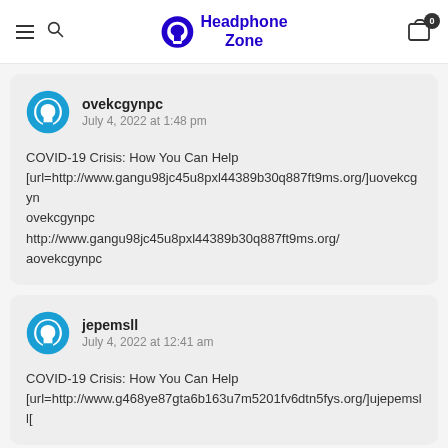Headphone Zone
ovekcgynpc
July 4, 2022 at 1:48 pm

COVID-19 Crisis: How You Can Help
[url=http://www.gangu98jc45u8pxl44389b30q887ft9ms.org/]uovekcgynovekcgynpc
http://www.gangu98jc45u8pxl44389b30q887ft9ms.org/
aovekcgynpc
jepemsll
July 4, 2022 at 12:41 am

COVID-19 Crisis: How You Can Help
[url=http://www.g468ye87gta6b163u7m5201fv6dtn5fys.org/]ujepemsll[